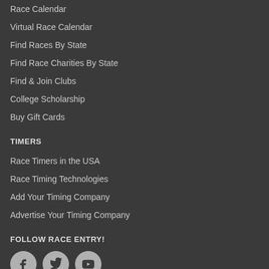Race Calendar
Virtual Race Calendar
Find Races By State
Find Race Charities By State
Find & Join Clubs
College Scholarship
Buy Gift Cards
TIMERS
Race Timers in the USA
Race Timing Technologies
Add Your Timing Company
Advertise Your Timing Company
FOLLOW RACE ENTRY!
[Figure (other): Social media icons: Facebook, Twitter, YouTube]
LOG IN